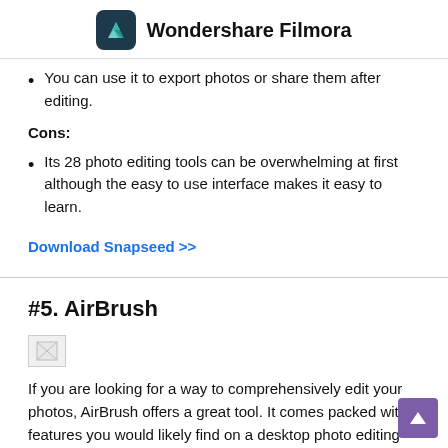Wondershare Filmora
You can use it to export photos or share them after editing.
Cons:
Its 28 photo editing tools can be overwhelming at first although the easy to use interface makes it easy to learn.
Download Snapseed >>
#5. AirBrush
[Figure (photo): AirBrush app image placeholder]
If you are looking for a way to comprehensively edit your photos, AirBrush offers a great tool. It comes packed with features you would likely find on a desktop photo editing tool packed into an easy to use Android app. To begin with, it offers the basics of photo editing including the ability to crop, filter and color editing as well as more